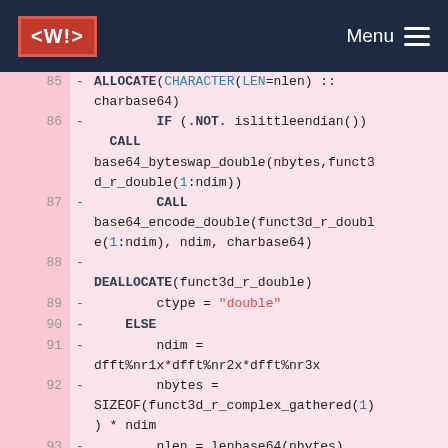<W!> Menu
Code listing lines 85-94 showing Fortran-like code with ALLOCATE, IF, CALL, DEALLOCATE, ELSE, variable assignments